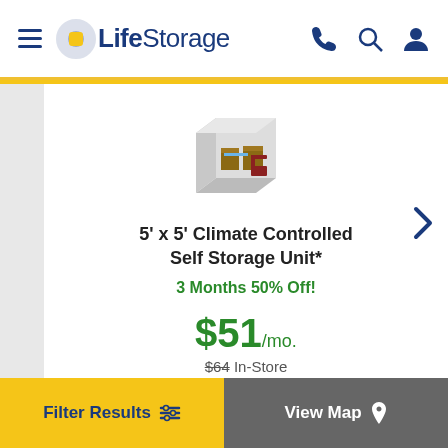LifeStorage
[Figure (illustration): Isometric illustration of a small storage unit interior with boxes and a chair]
5' x 5' Climate Controlled Self Storage Unit*
3 Months 50% Off!
$51/mo.
$64 In-Store
Filter Results  |  View Map